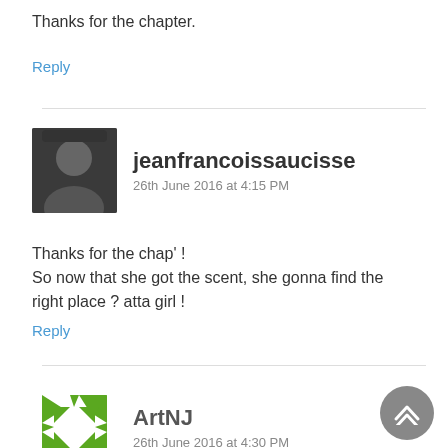Thanks for the chapter.
Reply
jeanfrancoissaucisse
26th June 2016 at 4:15 PM
Thanks for the chap' !
So now that she got the scent, she gonna find the right place ? atta girl !
Reply
ArtNJ
26th June 2016 at 4:30 PM